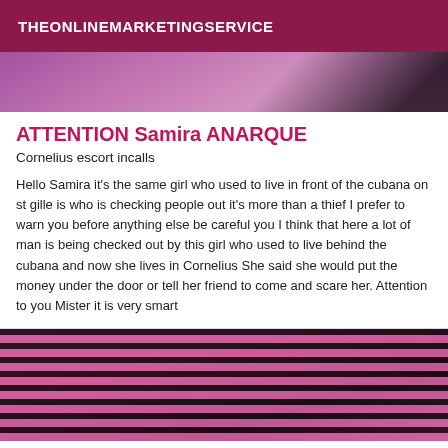THEONLINEMARKETINGSERVICE
[Figure (photo): Partial photo with purple/magenta tones at top]
ATTENTION Samira ANARQUE
Cornelius escort incalls
Hello Samira it's the same girl who used to live in front of the cubana on st gille is who is checking people out it's more than a thief I prefer to warn you before anything else be careful you I think that here a lot of man is being checked out by this girl who used to live behind the cubana and now she lives in Cornelius She said she would put the money under the door or tell her friend to come and scare her. Attention to you Mister it is very smart
[Figure (photo): Photo showing person wearing pink and black striped clothing]